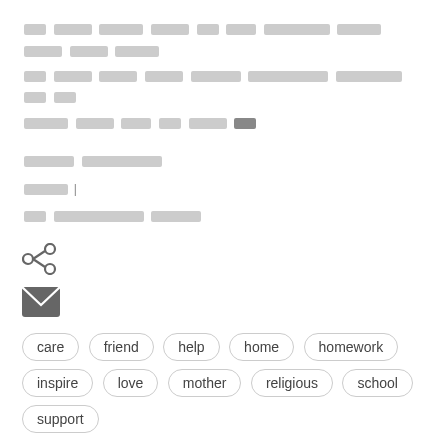[Hindi text - paragraph 1, lines 1-3]
[Hindi text - paragraph 2, lines 1-3]
[Figure (infographic): Share icon (social share symbol)]
[Figure (infographic): Mail/envelope icon]
care
friend
help
home
homework
inspire
love
mother
religious
school
support
Location: Boya, Bali, Rajasthan 306701, India